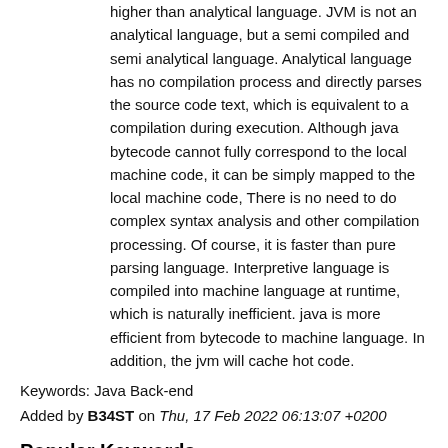higher than analytical language. JVM is not an analytical language, but a semi compiled and semi analytical language. Analytical language has no compilation process and directly parses the source code text, which is equivalent to a compilation during execution. Although java bytecode cannot fully correspond to the local machine code, it can be simply mapped to the local machine code, There is no need to do complex syntax analysis and other compilation processing. Of course, it is faster than pure parsing language. Interpretive language is compiled into machine language at runtime, which is naturally inefficient. java is more efficient from bytecode to machine language. In addition, the jvm will cache hot code.
Keywords: Java Back-end
Added by B34ST on Thu, 17 Feb 2022 06:13:07 +0200
Popular Keywords
Java - 6234
Python - 2579